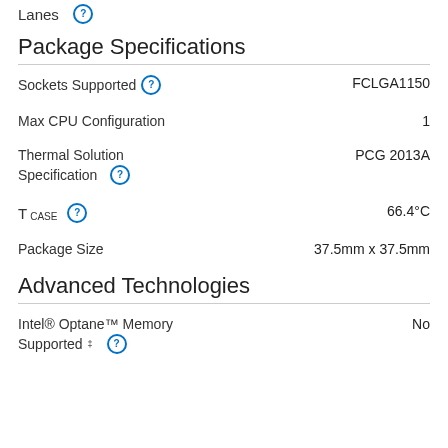Lanes
Package Specifications
| Specification | Value |
| --- | --- |
| Sockets Supported | FCLGA1150 |
| Max CPU Configuration | 1 |
| Thermal Solution Specification | PCG 2013A |
| TCASE | 66.4°C |
| Package Size | 37.5mm x 37.5mm |
Advanced Technologies
Intel® Optane™ Memory Supported ‡  No